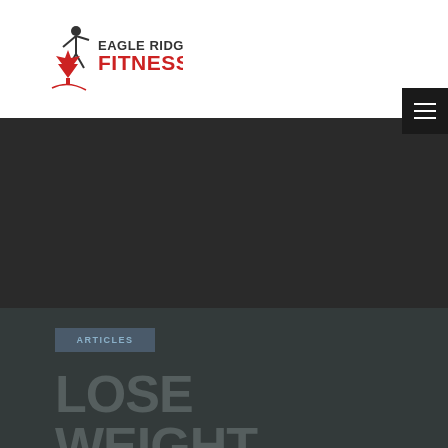[Figure (logo): Eagle Ridge Fitness logo with maple leaf and figure, red and dark text]
[Figure (other): Hamburger menu icon button, dark/black background with three white horizontal lines]
[Figure (photo): Dark hero image background area, appears to show a gym or fitness environment, very dark overlay]
ARTICLES
LOSE WEIGHT